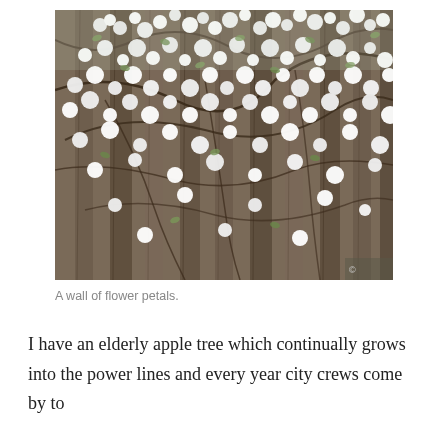[Figure (photo): A close-up photograph of an apple tree in bloom with numerous white flower petals covering the branches, set against a weathered wooden fence in the background.]
A wall of flower petals.
I have an elderly apple tree which continually grows into the power lines and every year city crews come by to